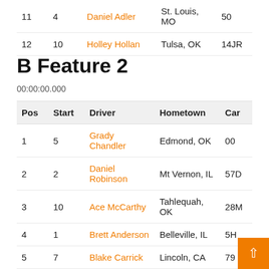| Pos | Start | Driver | Hometown | Car |
| --- | --- | --- | --- | --- |
| 11 | 4 | Daniel Adler | St. Louis, MO | 50 |
| 12 | 10 | Holley Hollan | Tulsa, OK | 14JR |
B Feature 2
00:00:00.000
| Pos | Start | Driver | Hometown | Car |
| --- | --- | --- | --- | --- |
| 1 | 5 | Grady Chandler | Edmond, OK | 00 |
| 2 | 2 | Daniel Robinson | Mt Vernon, IL | 57D |
| 3 | 10 | Ace McCarthy | Tahlequah, OK | 28M |
| 4 | 1 | Brett Anderson | Belleville, IL | 5H |
| 5 | 7 | Blake Carrick | Lincoln, CA | 79 |
| 6 | 9 | Dalton Camfield | Decatur, IL | 10C |
| 7 | 11 | Broc Hunnell | Eolia, MO | 103 |